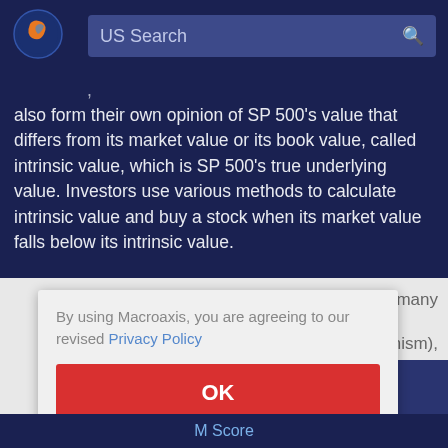[Figure (logo): Macroaxis logo: globe with orange and blue swirl]
US Search
also form their own opinion of SP 500's value that differs from its market value or its book value, called intrinsic value, which is SP 500's true underlying value. Investors use various methods to calculate intrinsic value and buy a stock when its market value falls below its intrinsic value.
y many
mism),
By using Macroaxis, you are agreeing to our revised Privacy Policy
OK
M Score